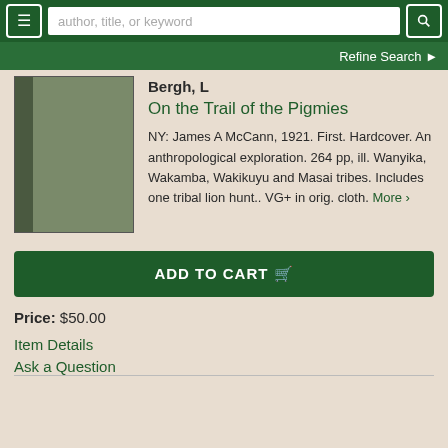author, title, or keyword — Refine Search
Bergh, L
On the Trail of the Pigmies
NY: James A McCann, 1921. First. Hardcover. An anthropological exploration. 264 pp, ill. Wanyika, Wakamba, Wakikuyu and Masai tribes. Includes one tribal lion hunt.. VG+ in orig. cloth. More >
ADD TO CART
Price: $50.00
Item Details
Ask a Question